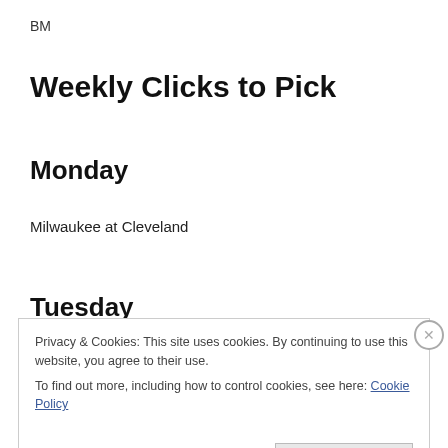BM
Weekly Clicks to Pick
Monday
Milwaukee at Cleveland
Tuesday
Privacy & Cookies: This site uses cookies. By continuing to use this website, you agree to their use.
To find out more, including how to control cookies, see here: Cookie Policy
Close and accept